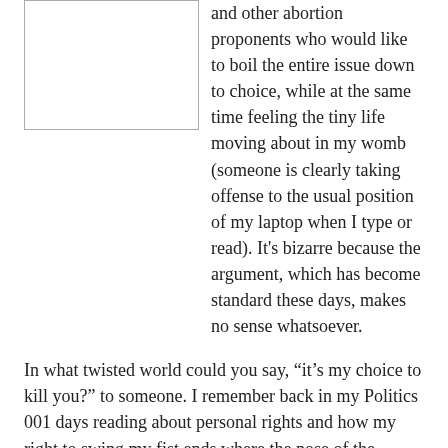[Figure (other): A rectangular image placeholder with a light border, positioned in the upper left area of the page.]
and other abortion proponents who would like to boil the entire issue down to choice, while at the same time feeling the tiny life moving about in my womb (someone is clearly taking offense to the usual position of my laptop when I type or read). It's bizarre because the argument, which has become standard these days, makes no sense whatsoever.
In what twisted world could you say, “it’s my choice to kill you?” to someone. I remember back in my Politics 001 days reading about personal rights and how my right to swing my fist ends where the nose of the person I’m punching begins. My “right” to make decisions is entirely dependent, every single day, on the impact that it would have on the rest of society (after all, the threat of prosecution hangs over the other bad choices that we all could make).
Yes, we have choices, but it’s impossible to honestly justify